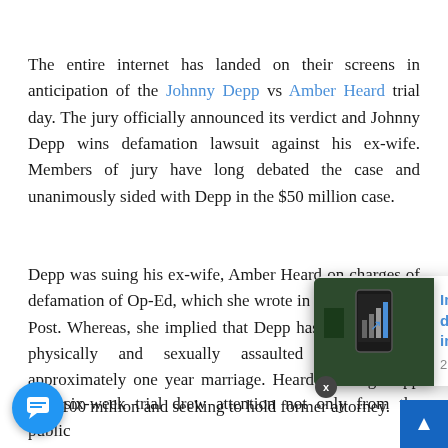The entire internet has landed on their screens in anticipation of the Johnny Depp vs Amber Heard trial day. The jury officially announced its verdict and Johnny Depp wins defamation lawsuit against his ex-wife. Members of jury have long debated the case and unanimously sided with Depp in the $50 million case.
Depp was suing his ex-wife, Amber Heard on charges of defamation of Op-Ed, which she wrote in the Washington Post. Whereas, she implied that Depp has infatuated her physically and sexually assaulted during their approximately one year marriage. Heard is suing Depp for $100 million and seeking to hold former attorney.
[Figure (screenshot): A popup notification card showing 'Internet in Pakistan is down for the ninth time in a week' with timestamp '2 hours ago', overlaid on the article text. Also visible: a phone graphic thumbnail on the left side of the card, a close (X) button, a blue chat bubble icon at bottom left, and a blue arrow button at bottom right.]
The six-week trial drew attention not only from the public